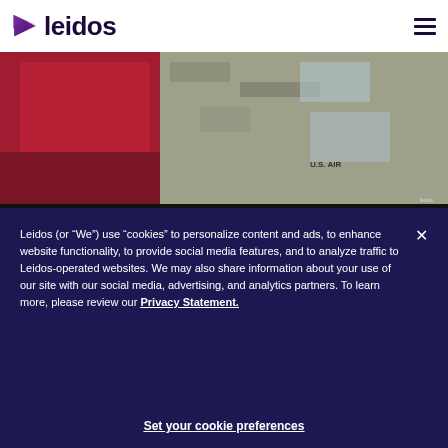[Figure (logo): Leidos logo: purple/magenta play-button triangle icon followed by 'leidos' in dark navy bold text]
[Figure (photo): Hero image showing a person in U.S. military uniform working at a laptop with a red screen visible]
Description
Job Description
Leidos (or “We”) use “cookies” to personalize content and ads, to enhance website functionality, to provide social media features, and to analyze traffic to Leidos-operated websites. We may also share information about your use of our site with our social media, advertising, and analytics partners. To learn more, please review our Privacy Statement.
Set your cookie preferences